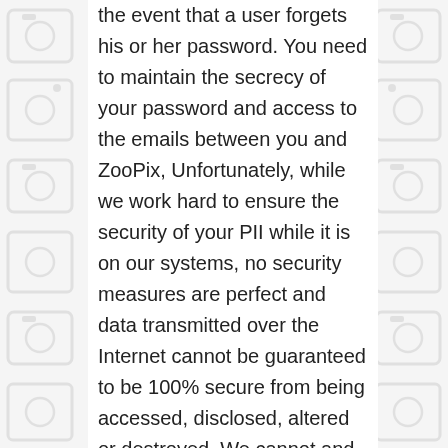the event that a user forgets his or her password. You need to maintain the secrecy of your password and access to the emails between you and ZooPix, Unfortunately, while we work hard to ensure the security of your PII while it is on our systems, no security measures are perfect and data transmitted over the Internet cannot be guaranteed to be 100% secure from being accessed, disclosed, altered or destroyed. We cannot and do not ensure or warrant the security of any information you transmit and you